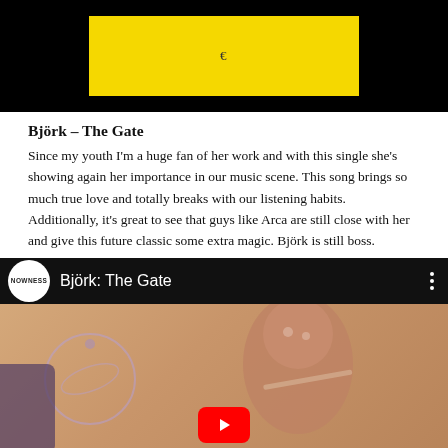[Figure (screenshot): Top portion of a video thumbnail with black background and yellow rectangle containing a small play/pause icon]
Björk – The Gate
Since my youth I'm a huge fan of her work and with this single she's showing again her importance in our music scene. This song brings so much true love and totally breaks with our listening habits. Additionally, it's great to see that guys like Arca are still close with her and give this future classic some extra magic. Björk is still boss.
[Figure (screenshot): YouTube video embed showing 'Björk: The Gate' by NOWNESS channel, with thumbnail of a woman playing flute surrounded by cosmic/planet imagery on a warm beige background, with a red YouTube play button at the bottom]